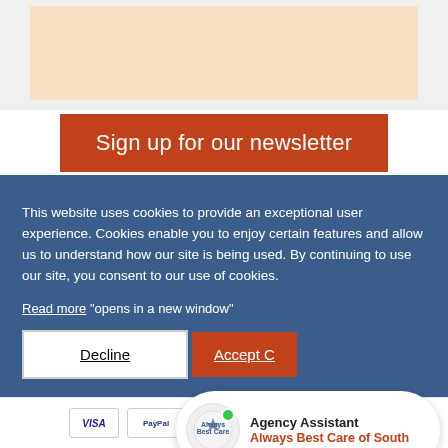[Figure (other): Top banner with light peach/cream colored rectangle on light gray background]
Sign up for our newsletter
This website uses cookies to provide an exceptional user experience. Cookies enable you to enjoy certain features and allow us to understand how our site is being used. By continuing to use our site, you consent to our use of cookies.
Read more "opens in a new window"
Decline | Accept C...
[Figure (other): Chat widget bubble showing Always Best Care logo with green online dot, text: Agency Assistant, Always Best Care of South]
[Figure (other): Payment method icons: VISA, PayPal, American Express, Discover, MasterCard]